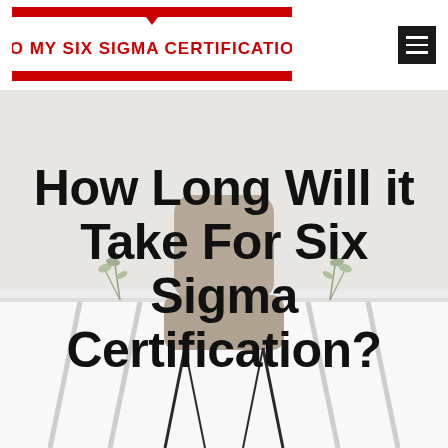[Figure (logo): Do My Six Sigma Certification logo — red banner with triangle accent and text 'DO MY SIX SIGMA CERTIFICATION' in bold red letters on white background with red border lines]
[Figure (photo): A minimal white desk with a beige/tan chair viewed from the front, with small plant sprigs on the desk, light gray/white background]
How Long Will it Take For Six Sigma Certification?